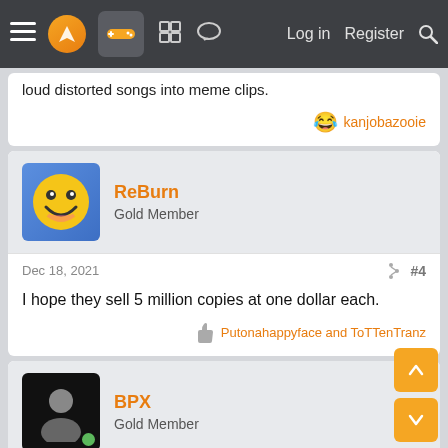Navigation bar with menu, logo, gamepad icon, grid icon, chat icon, Log in, Register, Search
loud distorted songs into meme clips.
kanjobazooie
ReBurn
Gold Member
Dec 18, 2021  #4
I hope they sell 5 million copies at one dollar each.
Putonahappyface and ToTTenTranz
BPX
Gold Member